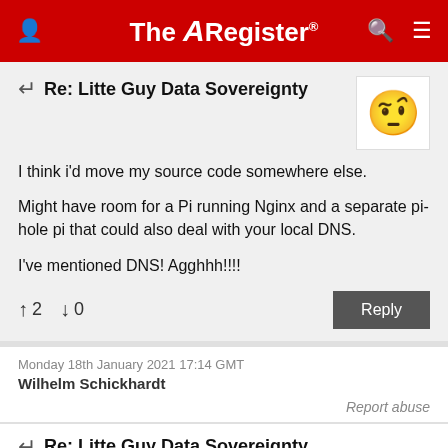The Register
Re: Litte Guy Data Sovereignty
I think i'd move my source code somewhere else.

Might have room for a Pi running Nginx and a separate pi-hole pi that could also deal with your local DNS.

I've mentioned DNS! Agghhh!!!!
↑2  ↓0   Reply
Monday 18th January 2021 17:14 GMT
Wilhelm Schickhardt
Report abuse
Re: Litte Guy Data Sovereignty
You must have heavy workloads if you need more